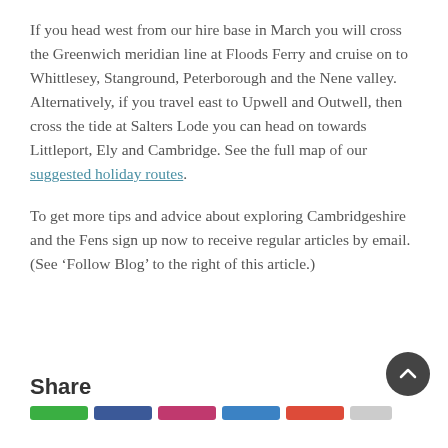If you head west from our hire base in March you will cross the Greenwich meridian line at Floods Ferry and cruise on to Whittlesey, Stanground, Peterborough and the Nene valley. Alternatively, if you travel east to Upwell and Outwell, then cross the tide at Salters Lode you can head on towards Littleport, Ely and Cambridge. See the full map of our suggested holiday routes.
To get more tips and advice about exploring Cambridgeshire and the Fens sign up now to receive regular articles by email. (See ‘Follow Blog’ to the right of this article.)
Share